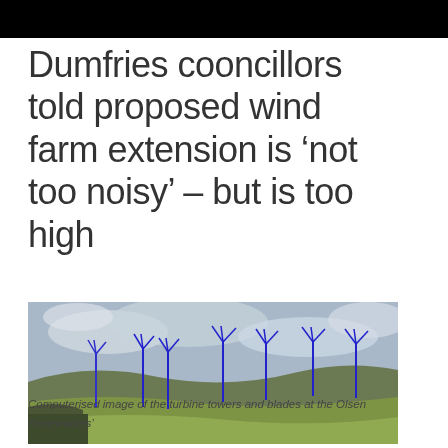Dumfries cooncillors told proposed wind farm extension is ‘not too noisy’ – but is too high
[Figure (photo): Computerised image showing wind turbine towers and blades overlaid in blue on a landscape photograph of rolling hills under a cloudy sky, depicting the proposed Olsen Renewables wind farm extension.]
Computerised image of the turbine towers and blades at the Olsen Renewables’